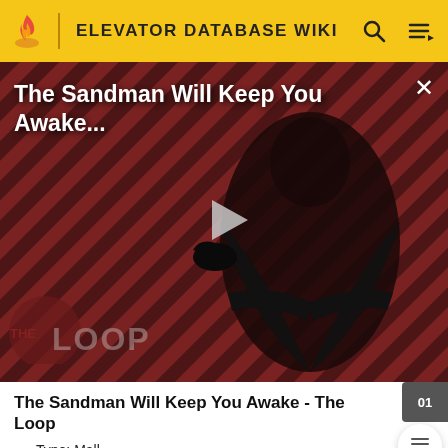ELEVATOR DATABASE WIKI
[Figure (screenshot): Video thumbnail showing a man in black cape against a red and black diagonal striped background. Title overlay reads 'The Sandman Will Keep You Awake...' with a play button in the center and THE LOOP watermark at lower left.]
The Sandman Will Keep You Awake - The Loop
Type: Mall
Country: Philippines
Construction Ended:
1991 (Glorietta 1 & 2; demolished 2010)